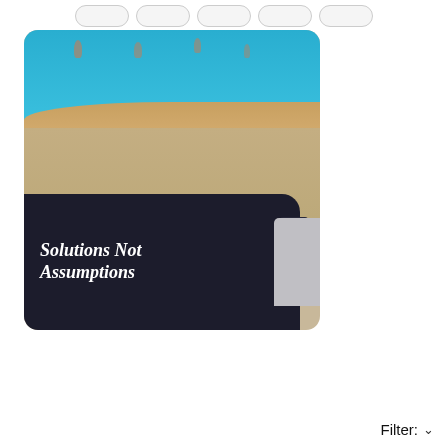[Figure (photo): Screenshot of a social media page showing a photo taken at a poolside. A black shirt/hoodie with white text reading 'Solutions Not Assumptions' is visible in the foreground. A blue swimming pool with people in it is visible in the background top. There is sandy/concrete poolside ground in the middle. A laptop or tablet is partially visible on the right. At the bottom right of the page is a 'Filter:' dropdown button. At the top are several rounded-rectangle tab/filter buttons.]